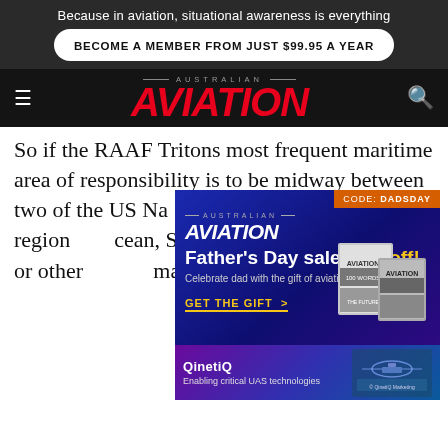Because in aviation, situational awareness is everything
BECOME A MEMBER FROM JUST $99.95 A YEAR
[Figure (logo): Australian Aviation magazine logo in red italic bold font with 'AUSTRALIAN' above in small caps]
So if the RAAF Tritons most frequent maritime area of responsibility is to be midway between two of the US Na... on Guam... lf region... cean, South... would... al or other... marit... Base Edinburgh?
[Figure (infographic): Father's Day sale advertisement for Australian Aviation magazine. Blue/purple gradient background. Orange tag: CODE: DADSDAY. Australian Aviation logo. Text: Father's Day sale 20% off! Celebrate dad with the gift of aviation. GET THE GIFT >. Magazine covers shown on right.]
[Figure (infographic): QinetiQ advertisement banner. Purple to blue gradient. Text: QinetiQ, Enabling critical UAS technologies. Image of drone/UAS technology on right.]